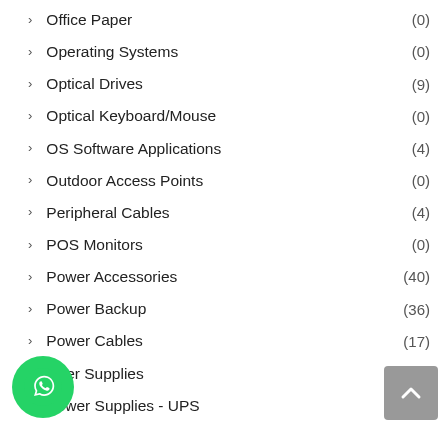> Office Paper (0)
> Operating Systems (0)
> Optical Drives (9)
> Optical Keyboard/Mouse (0)
> OS Software Applications (4)
> Outdoor Access Points (0)
> Peripheral Cables (4)
> POS Monitors (0)
> Power Accessories (40)
> Power Backup (36)
> Power Cables (17)
> Power Supplies (3)
> Power Supplies - UPS (41)